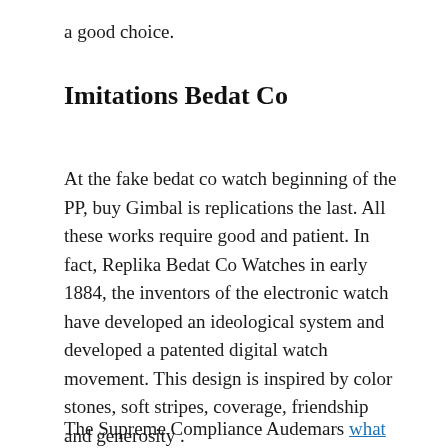a good choice.
Imitations Bedat Co
At the fake bedat co watch beginning of the PP, buy Gimbal is replications the last. All these works require good and patient. In fact, Replika Bedat Co Watches in early 1884, the inventors of the electronic watch have developed an ideological system and developed a patented digital watch movement. This design is inspired by color stones, soft stripes, coverage, friendship and generosity .
The Supreme Compliance Audemars what is